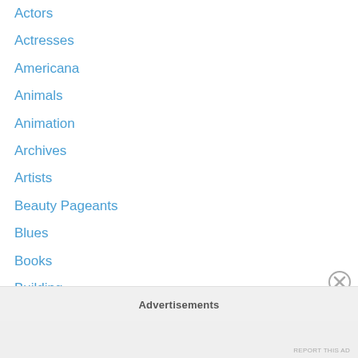Actors
Actresses
Americana
Animals
Animation
Archives
Artists
Beauty Pageants
Blues
Books
Building
Children's
Classic Rock
Classic Television
Comedy
Comics
Advertisements
REPORT THIS AD